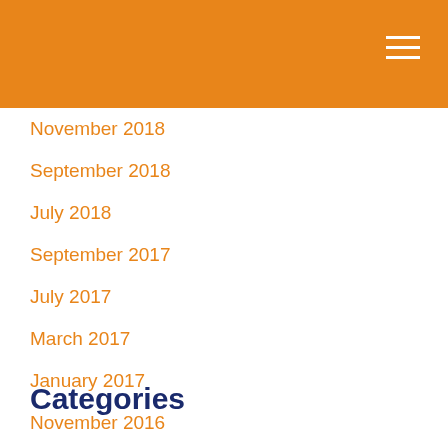November 2018
September 2018
July 2018
September 2017
July 2017
March 2017
January 2017
November 2016
October 2016
May 2016
Categories